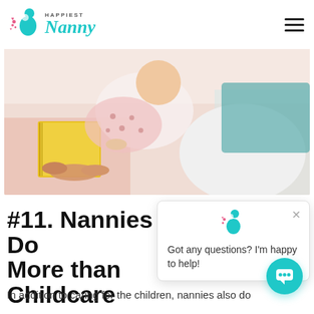[Figure (logo): Happiest Nanny logo with teal nanny icon and stylized italic Nanny text]
[Figure (photo): An adult reading a yellow book to a baby dressed in pink polka-dot clothing on a bed]
[Figure (screenshot): Chat popup with nanny icon, close button X, and text: Got any questions? I'm happy to help!]
#11. Nannies Do More than Childcare
In addition to caring for the children, nannies also do